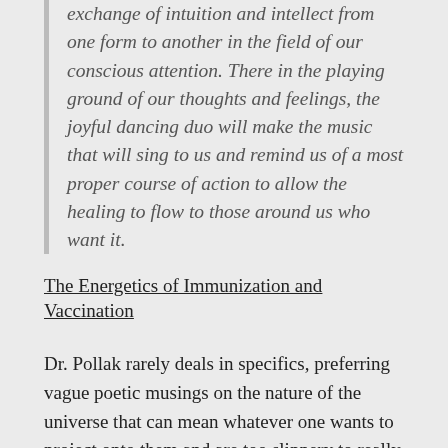exchange of intuition and intellect from one form to another in the field of our conscious attention. There in the playing ground of our thoughts and feelings, the joyful dancing duo will make the music that will sing to us and remind us of a most proper course of action to allow the healing to flow to those around us who want it.
The Energetics of Immunization and Vaccination
Dr. Pollak rarely deals in specifics, preferring vague poetic musings on the nature of the universe that can mean whatever one wants to project onto them and are too slippery to really analyze. However, he does sometimes try to connect his philosophical speculations to his alternative medical practice, and this is most specific in his discussion of vaccination.